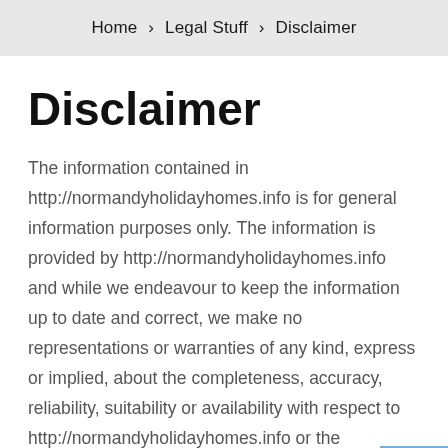Home › Legal Stuff › Disclaimer
Disclaimer
The information contained in http://normandyholidayhomes.info is for general information purposes only. The information is provided by http://normandyholidayhomes.info and while we endeavour to keep the information up to date and correct, we make no representations or warranties of any kind, express or implied, about the completeness, accuracy, reliability, suitability or availability with respect to http://normandyholidayhomes.info or the information, products, services, or related graphics contained on